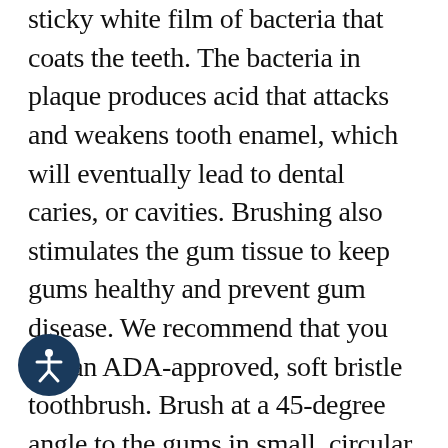sticky white film of bacteria that coats the teeth. The bacteria in plaque produces acid that attacks and weakens tooth enamel, which will eventually lead to dental caries, or cavities. Brushing also stimulates the gum tissue to keep gums healthy and prevent gum disease. We recommend that you use an ADA-approved, soft bristle toothbrush. Brush at a 45-degree angle to the gums in small, circular motions to stimulate the gums. Brush all sides and surfaces of the teeth including the back molars and inside of the front top and bottom teeth using the tip of the toothbrush. It is recommended to brush twice a day, using a light, gentle pressure for two (2) minutes. Brushing too hard or with a medium or firm bristle cause gum recession. Lastly, brush your tongue or use a tongue scraper to remove bacteria and freshen